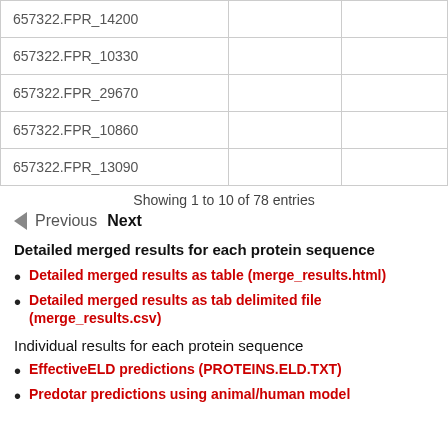| 657322.FPR_14200 |  |  |
| 657322.FPR_10330 |  |  |
| 657322.FPR_29670 |  |  |
| 657322.FPR_10860 |  |  |
| 657322.FPR_13090 |  |  |
Showing 1 to 10 of 78 entries
Previous  Next
Detailed merged results for each protein sequence
Detailed merged results as table (merge_results.html)
Detailed merged results as tab delimited file (merge_results.csv)
Individual results for each protein sequence
EffectiveELD predictions (PROTEINS.ELD.TXT)
Predotar predictions using animal/human model